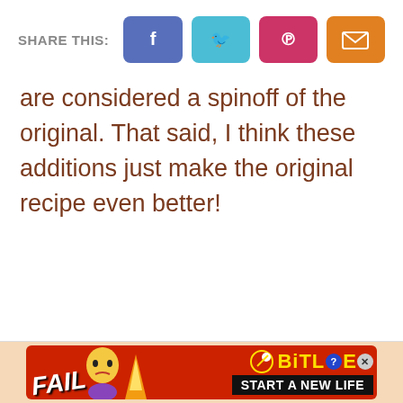SHARE THIS: [Facebook] [Twitter] [Pinterest] [Email]
are considered a spinoff of the original. That said, I think these additions just make the original recipe even better!
[Figure (infographic): Advertisement banner for BitLife game. Red background with 'FAIL' text and cartoon character, flame graphics, BitLife logo in yellow, and 'START A NEW LIFE' tagline on black bar.]